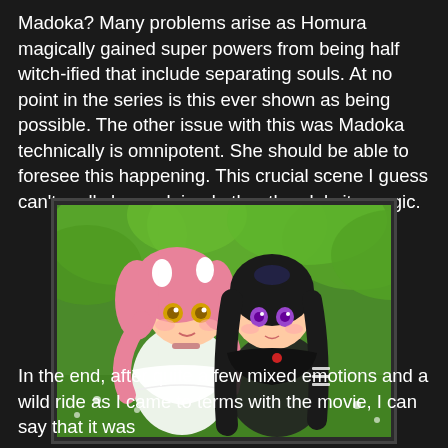Madoka? Many problems arise as Homura magically gained super powers from being half witch-ified that include separating souls. At no point in the series is this ever shown as being possible. The other issue with this was Madoka technically is omnipotent. She should be able to foresee this happening. This crucial scene I guess can't really be explained other than lulz its magic.
[Figure (illustration): Anime illustration of two chibi-style characters: a pink-haired girl in a white outfit with animal ears and a dark-haired girl in a black outfit, set against a green leafy background.]
In the end, after quite a few mixed emotions and a wild ride as I came to terms with the movie, I can say that it was